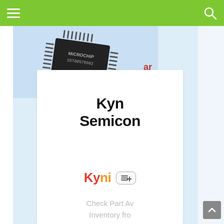Navigation bar with hamburger menu and search icon
[Figure (photo): Microchip IC (MICROCHIP branded) on a light blue background, partially cropped]
Kyn Semicon
[Figure (logo): Kynix semiconductor logo in red and orange with an add-to-list button]
Check Part Av Inventory fro